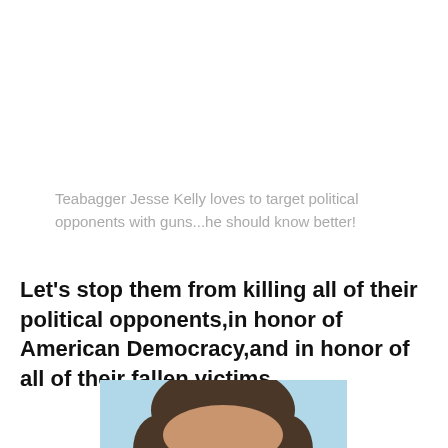Teabagger Jesse Kelly loves to target political opponents with guns...he should know better!
Let's stop them from killing all of their political opponents,in honor of American Democracy,and in honor of all of their fallen victims...
[Figure (photo): Close-up photo of a man's face against a light blue sky background]